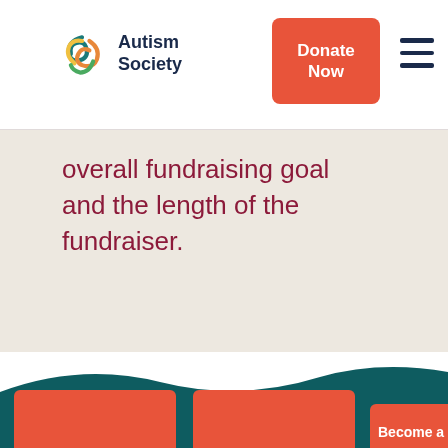Autism Society
overall fundraising goal and the length of the fundraiser.
[Figure (screenshot): Autism Society website screenshot showing header with logo, Donate Now button, beige content section with fundraising text, and orange card elements at bottom]